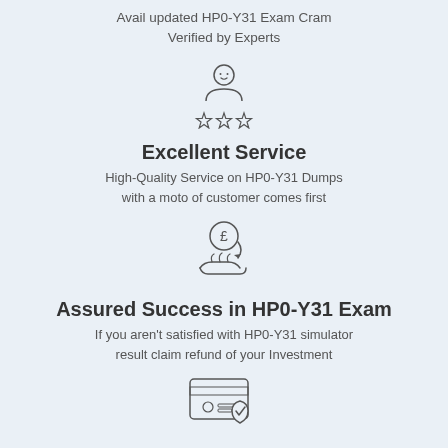Avail updated HP0-Y31 Exam Cram
Verified by Experts
[Figure (illustration): Person with stars icon representing excellent service]
Excellent Service
High-Quality Service on HP0-Y31 Dumps
with a moto of customer comes first
[Figure (illustration): Hand holding a pound coin icon representing money-back guarantee]
Assured Success in HP0-Y31 Exam
If you aren't satisfied with HP0-Y31 simulator
result claim refund of your Investment
[Figure (illustration): Credit card with shield icon representing secure process]
Highly secure process
Risk free payment process